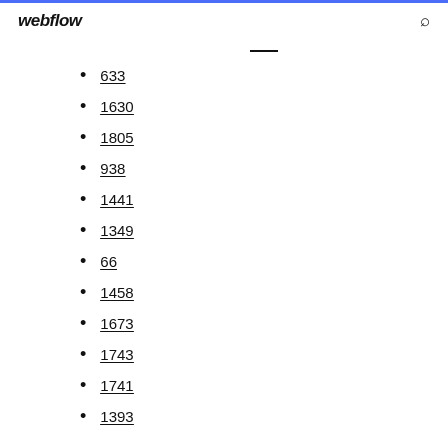webflow
633
1630
1805
938
1441
1349
66
1458
1673
1743
1741
1393